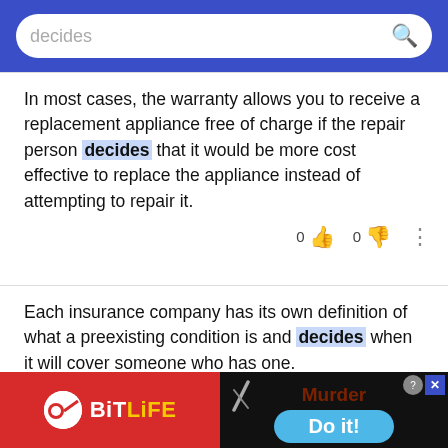decides
In most cases, the warranty allows you to receive a replacement appliance free of charge if the repair person decides that it would be more cost effective to replace the appliance instead of attempting to repair it.
Each insurance company has its own definition of what a preexisting condition is and decides when it will cover someone who has one.
[Figure (screenshot): Advertisement banner: BitLife app ad on left (red background with yellow logo), Murder/Do it! game ad on right (dark background)]